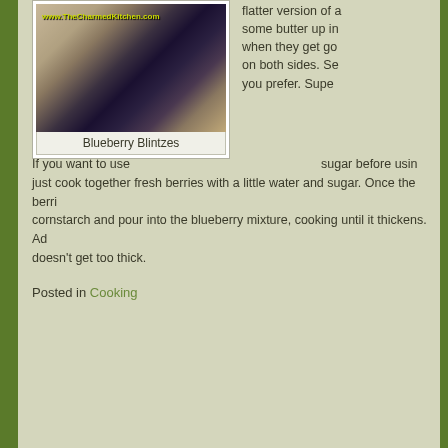[Figure (photo): Photo of Blueberry Blintzes with watermark www.TheCharmedKitchen.com]
Blueberry Blintzes
flatter version of a some butter up in when they get go on both sides. Se you prefer. Supe
If you want to use sugar before using just cook together fresh berries with a little water and sugar. Once the berries cornstarch and pour into the blueberry mixture, cooking until it thickens. Ad doesn't get too thick.
Posted in Cooking